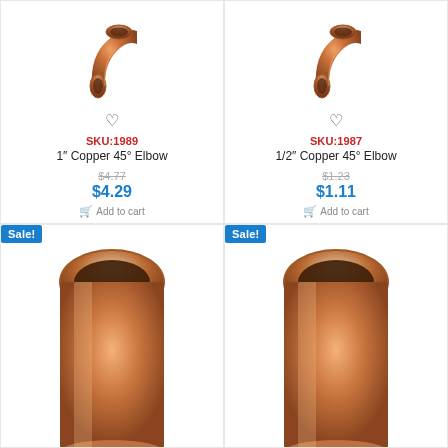[Figure (photo): 1 inch copper 45 degree elbow fitting, copper colored]
SKU:1989
1" Copper 45° Elbow
$4.77
$4.29
Add to cart
[Figure (photo): 1/2 inch copper 45 degree elbow fitting, copper colored]
SKU:1987
1/2" Copper 45° Elbow
$1.23
$1.11
Add to cart
Sale!
[Figure (photo): Partial view of copper pipe fitting from below]
Sale!
[Figure (photo): Partial view of copper pipe fitting from below]